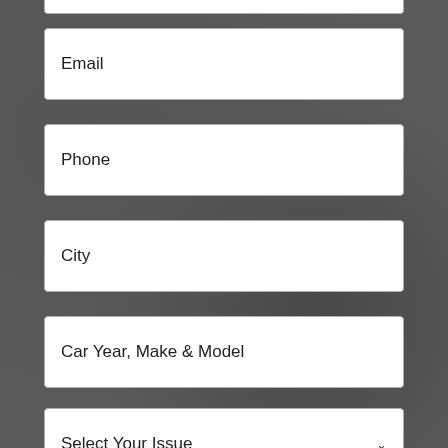Email
Phone
City
Car Year, Make & Model
Select Your Issue